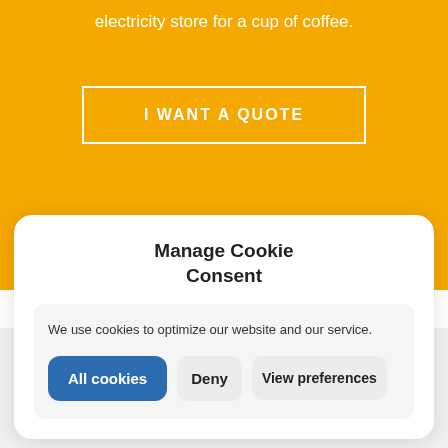electricity store for a cup of coffee.
I WANT A QUOTE
Manage Cookie Consent
We use cookies to optimize our website and our service.
All cookies
Deny
View preferences
[Figure (illustration): Red rounded square icon with a clock/time machine arrow symbol in white]